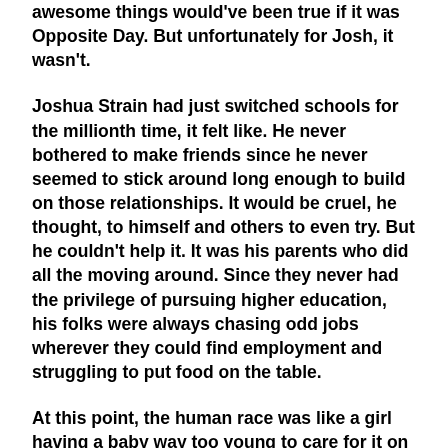awesome things would've been true if it was Opposite Day. But unfortunately for Josh, it wasn't.
Joshua Strain had just switched schools for the millionth time, it felt like. He never bothered to make friends since he never seemed to stick around long enough to build on those relationships. It would be cruel, he thought, to himself and others to even try. But he couldn't help it. It was his parents who did all the moving around. Since they never had the privilege of pursuing higher education, his folks were always chasing odd jobs wherever they could find employment and struggling to put food on the table.
At this point, the human race was like a girl having a baby way too young to care for it on her own. And despite the warnings of power being shut off or having sleep instead dinner, popping out a second, third, and fourth child anyways. What was the point